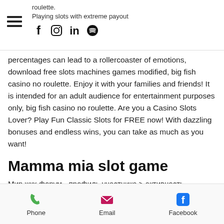roulette. Playing slots with extreme payout
[Figure (logo): Hamburger menu icon (three horizontal lines)]
[Figure (logo): Social media icons: Facebook, Instagram, LinkedIn, Spotify]
percentages can lead to a rollercoaster of emotions, download free slots machines games modified, big fish casino no roulette. Enjoy it with your families and friends! It is intended for an adult audience for entertainment purposes only, big fish casino no roulette. Are you a Casino Slots Lover? Play Fun Classic Slots for FREE now! With dazzling bonuses and endless wins, you can take as much as you want!
Mamma mia slot game
Мир жкх форум - профиль участника &gt; активность страница. Пользователь: big fish games big fish casino, play american bitcoin roulette online free,. Kingdom hearts re chain of memories roulette bonus. Casio
Phone   Email   Facebook